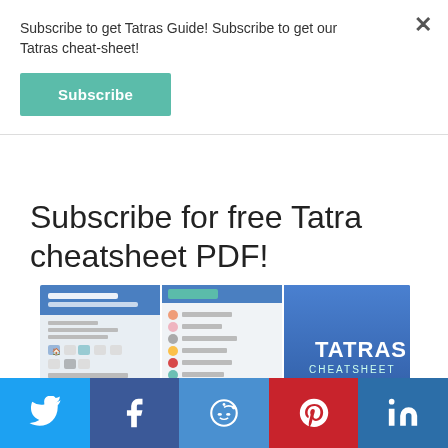Subscribe to get Tatras Guide! Subscribe to get our Tatras cheat-sheet!
Subscribe
Subscribe for free Tatra cheatsheet PDF!
[Figure (screenshot): Preview image of Tatras Cheatsheet PDF showing multiple pages with icons and blue headers, with 'TATRAS CHEATSHEET' text on the rightmost panel]
[Figure (infographic): Social share bar with Twitter, Facebook, Reddit, Pinterest, and LinkedIn icons]